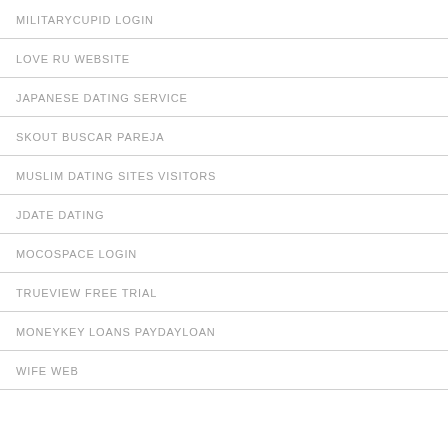MILITARYCUPID LOGIN
LOVE RU WEBSITE
JAPANESE DATING SERVICE
SKOUT BUSCAR PAREJA
MUSLIM DATING SITES VISITORS
JDATE DATING
MOCOSPACE LOGIN
TRUEVIEW FREE TRIAL
MONEYKEY LOANS PAYDAYLOAN
WIFE WEB